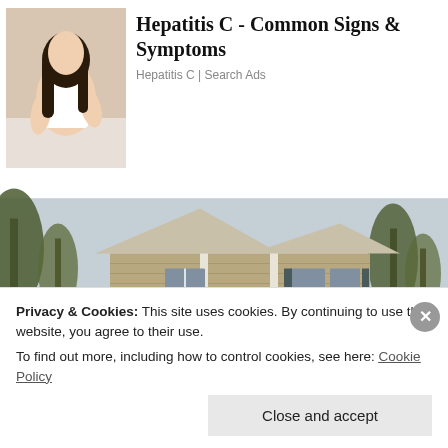[Figure (photo): Woman in white tank top holding her back, dark background]
Hepatitis C - Common Signs & Symptoms
Hepatitis C | Search Ads
[Figure (photo): Two-story colonial-style house with tan/beige siding, trees in background]
[Pics] 3-Foot Wide House Sells For $260K
Privacy & Cookies: This site uses cookies. By continuing to use this website, you agree to their use.
To find out more, including how to control cookies, see here: Cookie Policy
Close and accept